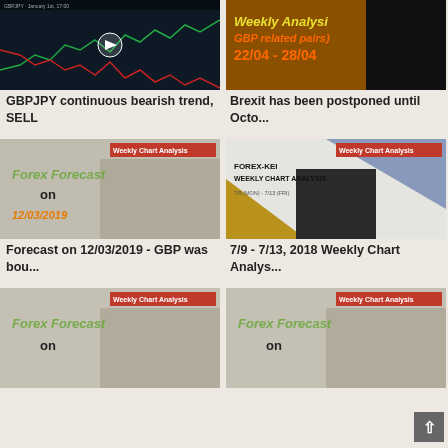[Figure (screenshot): GBPJPY trading chart screenshot showing bearish trend with candlestick chart]
GBPJPY continuous bearish trend, SELL
[Figure (illustration): Weekly Analysis GBP related pairs 22/04 - 28/04 banner with orange/dark background]
Brexit has been postponed until Octo...
[Figure (screenshot): Forex Forecast on 12/03/2019 banner with Weekly Chart Analysis label]
Forecast on 12/03/2019 - GBP was bou...
[Figure (screenshot): FOREX-KEI Weekly Chart Analysis 7/9 (MON) - 7/13 (FRI) with geometric shapes]
7/9 - 7/13, 2018 Weekly Chart Analys...
[Figure (screenshot): Forex Forecast on [date] banner with Weekly Chart Analysis label]
[Figure (screenshot): Forex Forecast on [date] banner with Weekly Chart Analysis label]